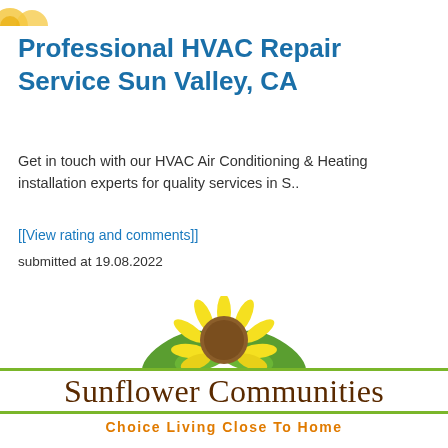[Figure (logo): Partial star/burst logo shapes visible at top left corner]
Professional HVAC Repair Service Sun Valley, CA
Get in touch with our HVAC Air Conditioning & Heating installation experts for quality services in S..
[[View rating and comments]]
submitted at 19.08.2022
[Figure (logo): Sunflower Communities logo with sunflower illustration, dark brown serif text 'Sunflower Communities', green horizontal lines above and below, and orange tagline 'Choice Living Close To Home']